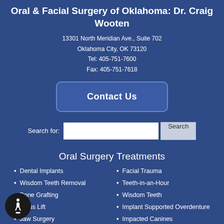Oral & Facial Surgery of Oklahoma: Dr. Craig Wooten
13301 North Meridian Ave., Suite 702
Oklahoma City, OK 73120
Tel: 405-751-7600
Fax: 405-751-7618
Contact Us
Search for:  [search input]  Search
Oral Surgery Treatments
Dental Implants
Wisdom Teeth Removal
Bone Grafting
Sinus Lift
Jaw Surgery
Facial Trauma
Teeth-in-an-Hour
Wisdom Teeth
Implant Supported Overdenture
Impacted Canines